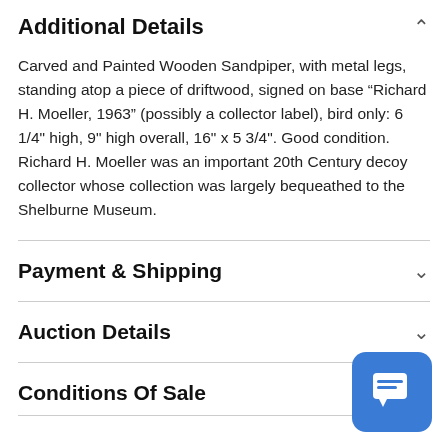Additional Details
Carved and Painted Wooden Sandpiper, with metal legs, standing atop a piece of driftwood, signed on base "Richard H. Moeller, 1963" (possibly a collector label), bird only: 6 1/4" high, 9" high overall, 16" x 5 3/4". Good condition. Richard H. Moeller was an important 20th Century decoy collector whose collection was largely bequeathed to the Shelburne Museum.
Payment & Shipping
Auction Details
Conditions Of Sale